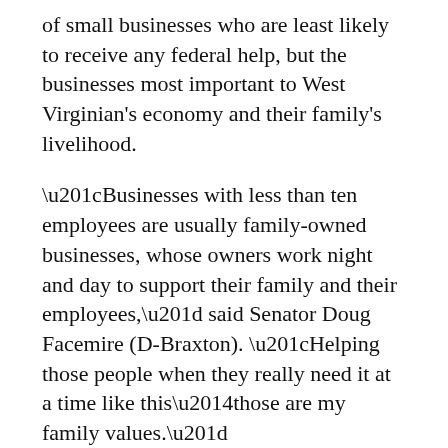of small businesses who are least likely to receive any federal help, but the businesses most important to West Virginian's economy and their family's livelihood.
“Businesses with less than ten employees are usually family-owned businesses, whose owners work night and day to support their family and their employees,” said Senator Doug Facemire (D-Braxton). “Helping those people when they really need it at a time like this—those are my family values.”
More in Government:
[Figure (screenshot): Thumbnail screenshot of a West Virginia COVID-19 data dashboard showing statistics including 871,993 and other numbers.]
Coronavirus Update: West Virginia – 918 new cases, 7 deaths since last update; 55.2% of population fully